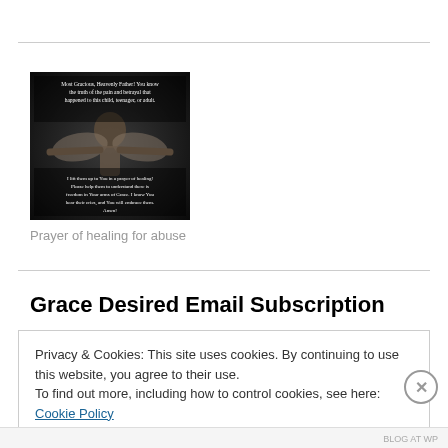[Figure (photo): Dark image of a person with arms outstretched looking upward, overlaid with white text beginning 'Most Gracious, Heavenly Father! You know the truth of the pain and betrayal that happened to this child, teenager, or adult...' and ending with 'Amen!']
Prayer of healing for abuse
Grace Desired Email Subscription
Privacy & Cookies: This site uses cookies. By continuing to use this website, you agree to their use.
To find out more, including how to control cookies, see here: Cookie Policy
Close and accept